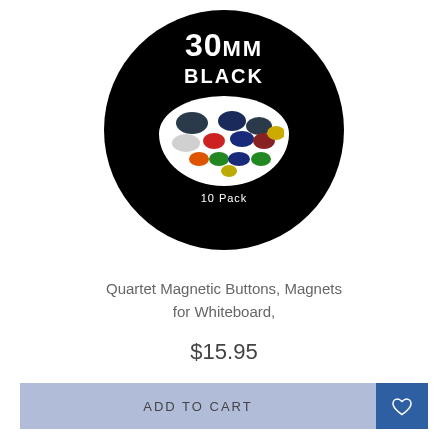[Figure (photo): Black circular product label showing '30MM BLACK' text with colorful magnetic buttons on a white blob shape in the center, and '10 Pack' text at bottom]
Quartet Magnetic Buttons, Magnets for Whiteboard,
$15.95
ADD TO CART